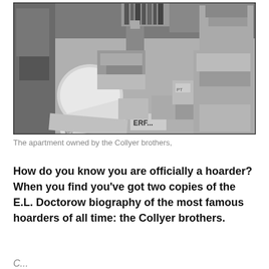[Figure (photo): Black and white photograph of the cluttered interior of the apartment owned by the Collyer brothers, filled floor to ceiling with stacked boxes, books, newspapers, and miscellaneous objects.]
The apartment owned by the Collyer brothers,
How do you know you are officially a hoarder? When you find you've got two copies of the E.L. Doctorow biography of the most famous hoarders of all time: the Collyer brothers.